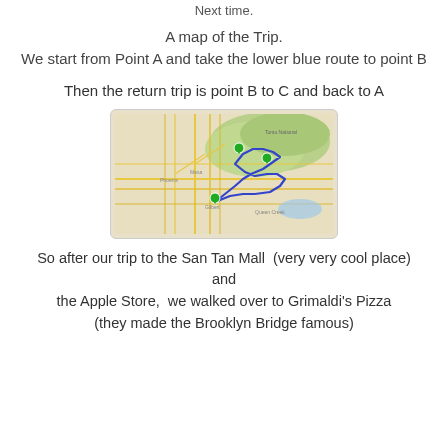Next time.
A map of the Trip.
We start from Point A and take the lower blue route to point B
Then the return trip is point B to C and back to A
[Figure (map): A Google Maps style map showing a route with blue lines connecting green pins at points A, B, and C around the Phoenix/Mesa/Gilbert Arizona area. The route forms a loop going from point A (lower left) through points B and C in the upper/eastern areas.]
So after our trip to the San Tan Mall  (very very cool place) and
the Apple Store,  we walked over to Grimaldi's Pizza
(they made the Brooklyn Bridge famous)